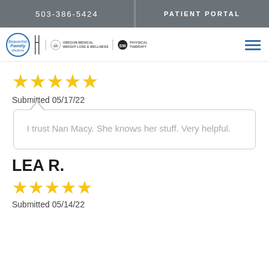503-386-5424   PATIENT PORTAL
[Figure (logo): Beaverton Family Medicine logo with Oregon Medical Weight Loss & Wellness and SW Physical Therapy logos]
[Figure (infographic): 5 gold stars rating]
Submitted 05/17/22
I trust Nan Macy. She knows her stuff. Very helpful.
LEA R.
[Figure (infographic): 5 gold stars rating]
Submitted 05/14/22